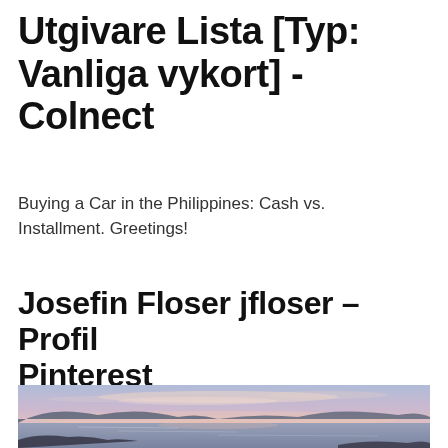Utgivare Lista [Typ: Vanliga vykort] - Colnect
Buying a Car in the Philippines: Cash vs. Installment. Greetings!
Josefin Floser jfloser – Profil Pinterest
[Figure (photo): Landscape photo of a lake or bay at sunset/dusk with distant hills and a soft pink-purple sky with wispy clouds]